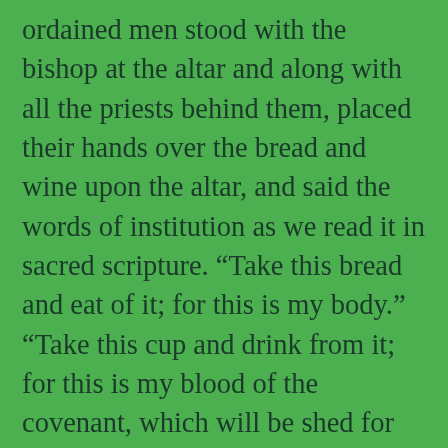ordained men stood with the bishop at the altar and along with all the priests behind them, placed their hands over the bread and wine upon the altar, and said the words of institution as we read it in sacred scripture. “Take this bread and eat of it; for this is my body.” “Take this cup and drink from it; for this is my blood of the covenant, which will be shed for many.” It is a gesture that has been passed down for generations, a link all the way back to the first Eucharist the night before the Lord’s passion. And the bread and wine become by the words and